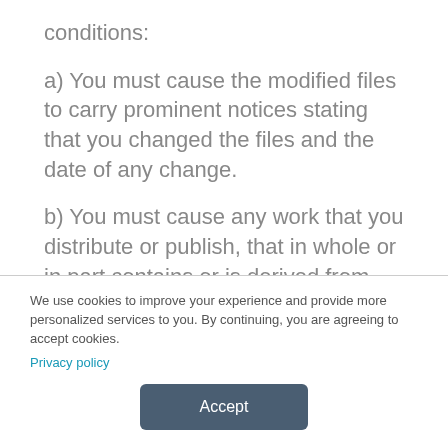conditions:
a) You must cause the modified files to carry prominent notices stating that you changed the files and the date of any change.
b) You must cause any work that you distribute or publish, that in whole or in part contains or is derived from the Program or any
We use cookies to improve your experience and provide more personalized services to you. By continuing, you are agreeing to accept cookies. Privacy policy
Accept